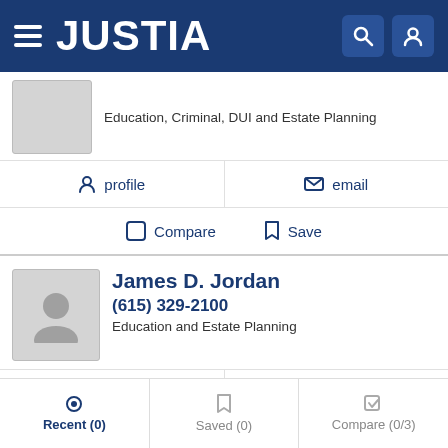JUSTIA
Education, Criminal, DUI and Estate Planning
profile   email
Compare   Save
James D. Jordan
(615) 329-2100
Education and Estate Planning
profile   email
Compare   Save
Recent (0)   Saved (0)   Compare (0/3)